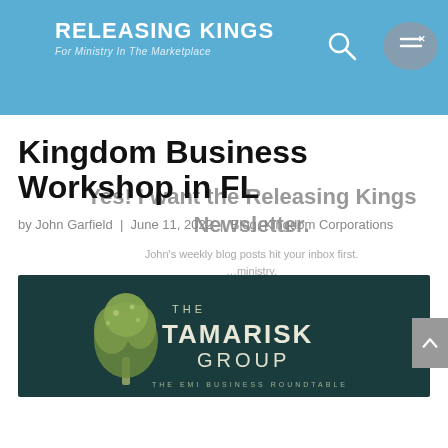Releasing Kings – For Ministry In The Marketplace
Kingdom Business Workshop in FL
by John Garfield | June 11, 2022 | Blog, Kingdom Corporations
Yes! I want the Releasing Kings Newsletter.
John's weekly blog posts hit your inbox first.
First Name
[Figure (logo): The Tamarisk Group – The EMI Business Roundtable logo with tree illustration on dark teal background]